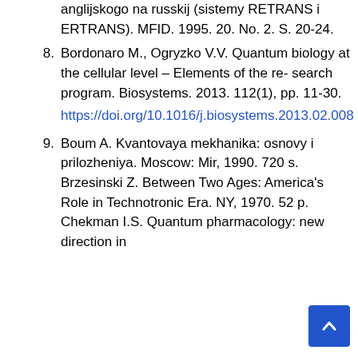anglijskogo na russkij (sistemy RETRANS i ERTRANS). MFID. 1995. 20. No. 2. S. 20-24.
8. Bordonaro M., Ogryzko V.V. Quantum biology at the cellular level – Elements of the re- search program. Biosystems. 2013. 112(1), pp. 11-30.
https://doi.org/10.1016/j.biosystems.2013.02.008
9. Boum A. Kvantovaya mekhanika: osnovy i prilozheniya. Moscow: Mir, 1990. 720 s. Brzesinski Z. Between Two Ages: America's Role in Technotronic Era. NY, 1970. 52 p. Chekman I.S. Quantum pharmacology: new direction in